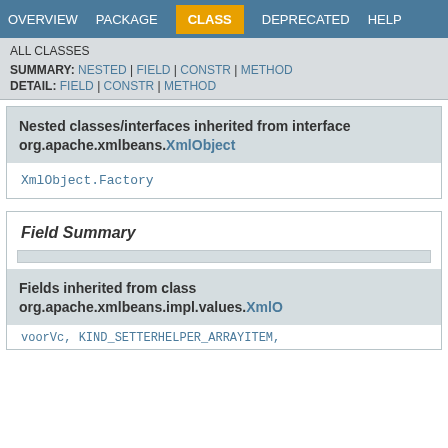OVERVIEW  PACKAGE  CLASS  DEPRECATED  HELP
ALL CLASSES
SUMMARY: NESTED | FIELD | CONSTR | METHOD
DETAIL: FIELD | CONSTR | METHOD
Nested classes/interfaces inherited from interface org.apache.xmlbeans.XmlObject
XmlObject.Factory
Field Summary
Fields inherited from class org.apache.xmlbeans.impl.values.XmlO
voorVc, KIND_SETTERHELPER_ARRAYITEM,